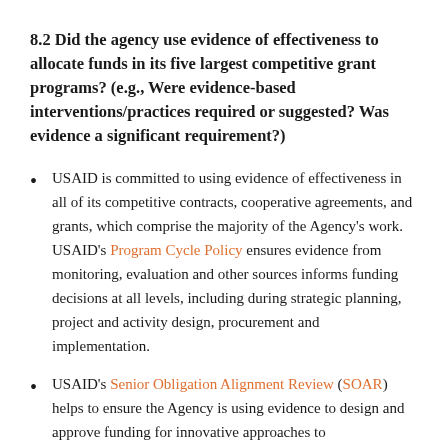8.2 Did the agency use evidence of effectiveness to allocate funds in its five largest competitive grant programs? (e.g., Were evidence-based interventions/practices required or suggested? Was evidence a significant requirement?)
USAID is committed to using evidence of effectiveness in all of its competitive contracts, cooperative agreements, and grants, which comprise the majority of the Agency's work. USAID's Program Cycle Policy ensures evidence from monitoring, evaluation and other sources informs funding decisions at all levels, including during strategic planning, project and activity design, procurement and implementation.
USAID's Senior Obligation Alignment Review (SOAR) helps to ensure the Agency is using evidence to design and approve funding for innovative approaches to